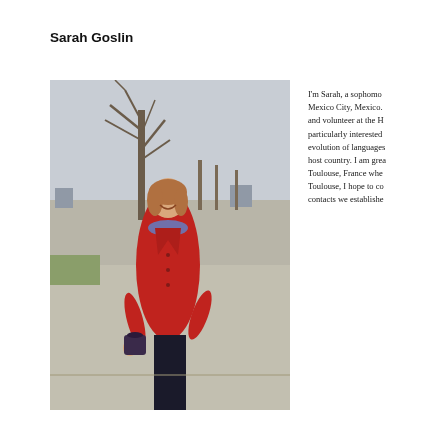Sarah Goslin
[Figure (photo): A young woman in a red coat and scarf smiling in an outdoor park setting with bare trees in the background. She is carrying a bag.]
I'm Sarah, a sophomore studying in Mexico City, Mexico. and volunteer at the H particularly interested evolution of languages host country. I am grea Toulouse, France whe Toulouse, I hope to co contacts we establishe